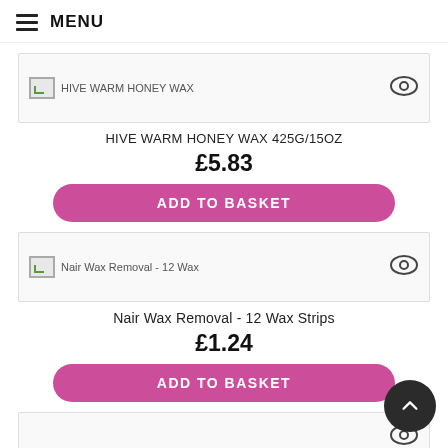MENU
[Figure (photo): Product image placeholder for HIVE WARM HONEY WAX 425G/15OZ with eye/quick-view icon]
HIVE WARM HONEY WAX 425G/15OZ
£5.83
ADD TO BASKET
[Figure (photo): Product image placeholder for Nair Wax Removal - 12 Wax Strips with eye/quick-view icon]
Nair Wax Removal - 12 Wax Strips
£1.24
ADD TO BASKET
[Figure (photo): Third product image placeholder with eye/quick-view icon (product name not visible)]